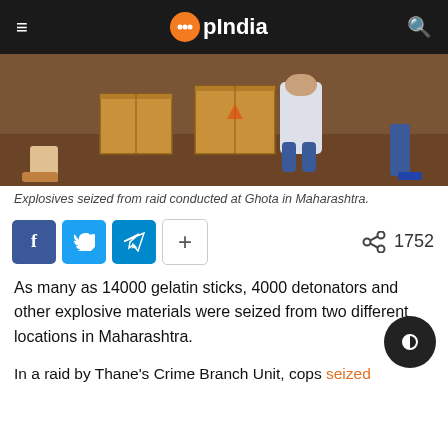OpIndia
[Figure (photo): Explosives in cardboard boxes seized from raid, person crouching near boxes on dirt ground, other people standing around]
Explosives seized from raid conducted at Ghota in Maharashtra.
[Figure (infographic): Social share buttons: Facebook, Twitter, Telegram, More (+), and share count 1752]
As many as 14000 gelatin sticks, 4000 detonators and other explosive materials were seized from two different locations in Maharashtra.
In a raid by Thane's Crime Branch Unit, cops seized 14000...